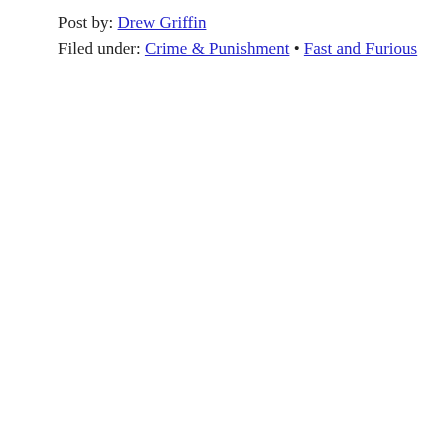Post by: Drew Griffin
Filed under: Crime & Punishment • Fast and Furious